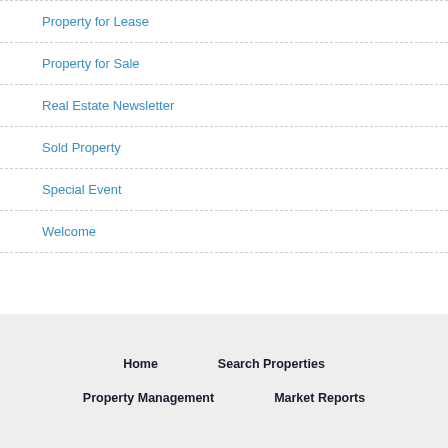Property for Lease
Property for Sale
Real Estate Newsletter
Sold Property
Special Event
Welcome
Home  Search Properties  Property Management  Market Reports